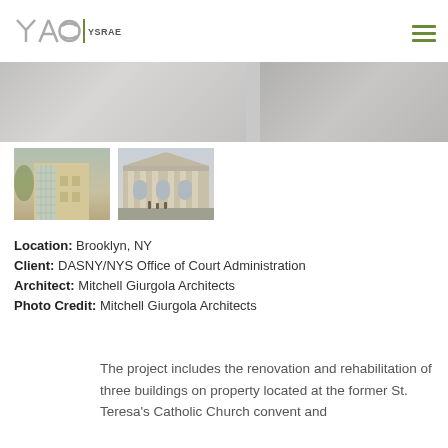[Figure (logo): YAS Ysrael A. Seinuk logo with stylized letters and green vertical bar]
[Figure (photo): Wide banner area showing two building photos side by side (partially visible)]
[Figure (photo): Two thumbnail photos: left shows a modern glass-facade building addition, right shows a classical stone courthouse building facade]
Location: Brooklyn, NY
Client: DASNY/NYS Office of Court Administration
Architect: Mitchell Giurgola Architects
Photo Credit: Mitchell Giurgola Architects
The project includes the renovation and rehabilitation of three buildings on property located at the former St. Teresa's Catholic Church convent and